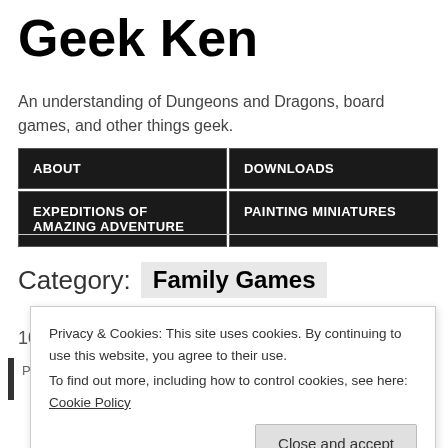Geek Ken
An understanding of Dungeons and Dragons, board games, and other things geek.
ABOUT | DOWNLOADS | EXPEDITIONS OF AMAZING ADVENTURE | PAINTING MINIATURES
Category: Family Games
10/22/2019
Privacy & Cookies: This site uses cookies. By continuing to use this website, you agree to their use. To find out more, including how to control cookies, see here: Cookie Policy
Close and accept